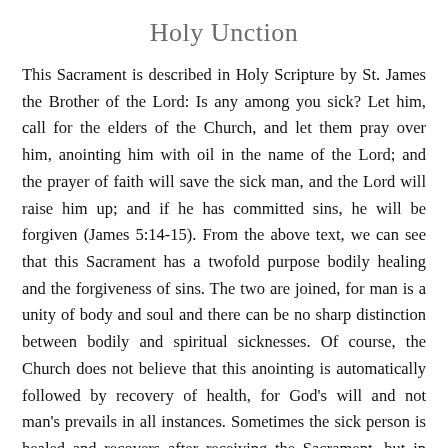Holy Unction
This Sacrament is described in Holy Scripture by St. James the Brother of the Lord: Is any among you sick? Let him, call for the elders of the Church, and let them pray over him, anointing him with oil in the name of the Lord; and the prayer of faith will save the sick man, and the Lord will raise him up; and if he has committed sins, he will be forgiven (James 5:14-15). From the above text, we can see that this Sacrament has a twofold purpose bodily healing and the forgiveness of sins. The two are joined, for man is a unity of body and soul and there can be no sharp distinction between bodily and spiritual sicknesses. Of course, the Church does not believe that this anointing is automatically followed by recovery of health, for God's will and not man's prevails in all instances. Sometimes the sick person is healed and recovers after receiving the Sacrament, but in other